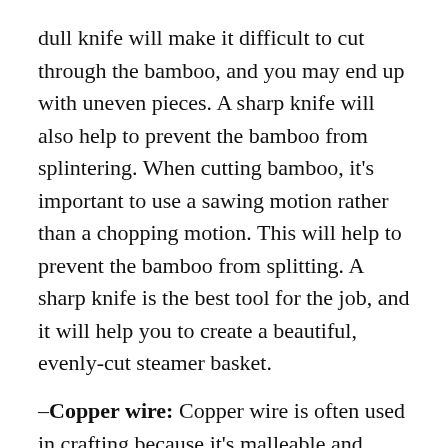dull knife will make it difficult to cut through the bamboo, and you may end up with uneven pieces. A sharp knife will also help to prevent the bamboo from splintering. When cutting bamboo, it's important to use a sawing motion rather than a chopping motion. This will help to prevent the bamboo from splitting. A sharp knife is the best tool for the job, and it will help you to create a beautiful, evenly-cut steamer basket.
-Copper wire: Copper wire is often used in crafting because it's malleable and durable. When making your own basket, be sure to use copper wire to create the frame. In addition,